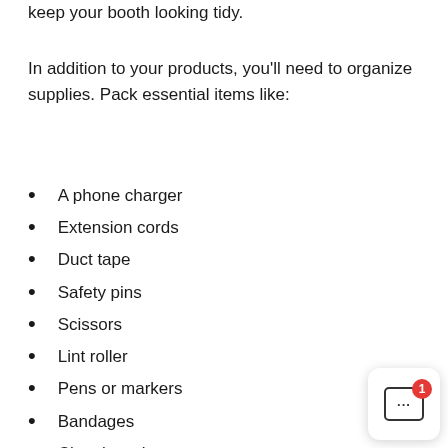keep your booth looking tidy.
In addition to your products, you'll need to organize supplies. Pack essential items like:
A phone charger
Extension cords
Duct tape
Safety pins
Scissors
Lint roller
Pens or markers
Bandages
Cleaning wipes